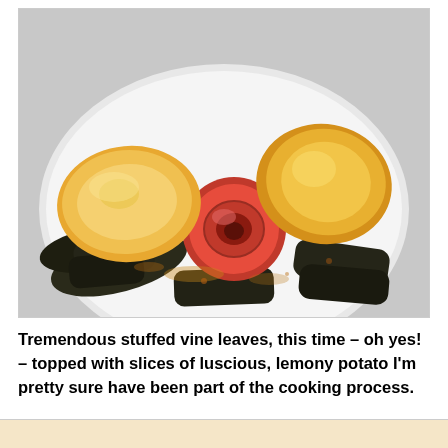[Figure (photo): A white plate with stuffed vine leaves (dolmades) topped with slices of lemony potato and a cooked tomato, photographed from above on a white background.]
Tremendous stuffed vine leaves, this time – oh yes! – topped with slices of luscious, lemony potato I'm pretty sure have been part of the cooking process.